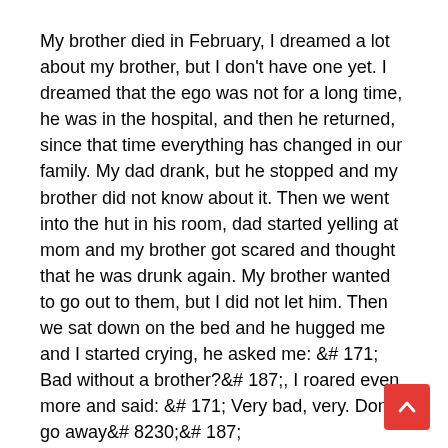My brother died in February, I dreamed a lot about my brother, but I don't have one yet. I dreamed that the ego was not for a long time, he was in the hospital, and then he returned, since that time everything has changed in our family. My dad drank, but he stopped and my brother did not know about it. Then we went into the hut in his room, dad started yelling at mom and my brother got scared and thought that he was drunk again. My brother wanted to go out to them, but I did not let him. Then we sat down on the bed and he hugged me and I started crying, he asked me: &# 171; Bad without a brother?&# 187;, I roared even more and said: &# 171; Very bad, very. Don't go away&# 8230;&# 187;
so that is all.
Hello, I dreamed that my brother hurt my hand very much, then I twisted my hand somewhere with him in some corridor, some guys wanted to rape me, I grabbed